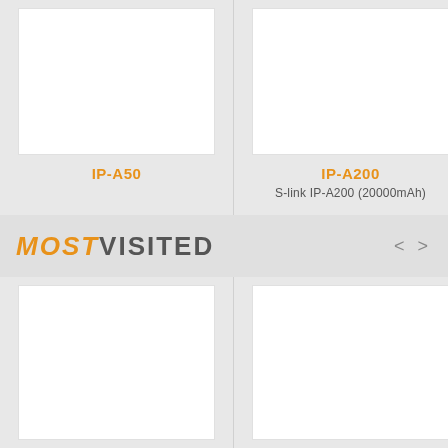[Figure (photo): White product image box for IP-A50]
IP-A50
[Figure (photo): White product image box for IP-A200]
IP-A200
S-link IP-A200 (20000mAh)
MOST VISITED
[Figure (photo): White product image box (bottom left)]
[Figure (photo): White product image box (bottom right)]